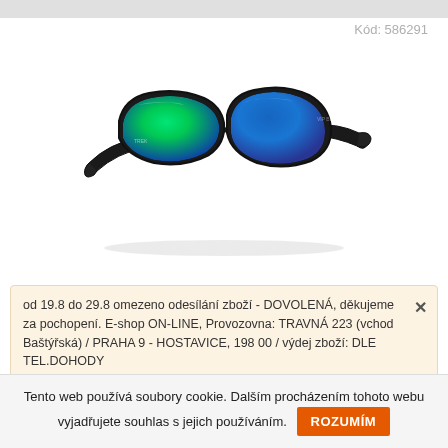Kód: 586291
[Figure (photo): Sunglasses with black frame and blue-green mirrored lenses, viewed at a slight angle.]
od 19.8 do 29.8 omezeno odesílání zboží - DOVOLENÁ, děkujeme za pochopení. E-shop ON-LINE, Provozovna: TRAVNÁ 223 (vchod Baštýřská) / PRAHA 9 - HOSTAVICE, 198 00 / výdej zboží: DLE TEL.DOHODY
Tento web používá soubory cookie. Dalším procházením tohoto webu vyjadřujete souhlas s jejich používáním. ROZUMÍM